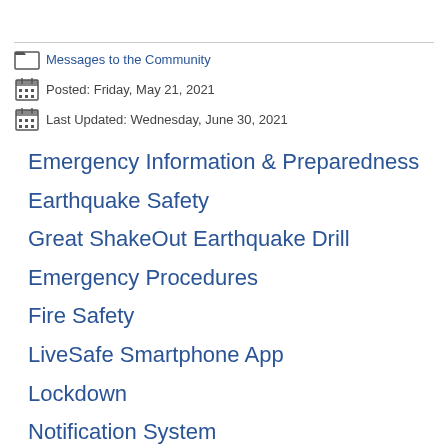Messages to the Community
Posted: Friday, May 21, 2021
Last Updated: Wednesday, June 30, 2021
Emergency Information & Preparedness
Earthquake Safety
Great ShakeOut Earthquake Drill
Emergency Procedures
Fire Safety
LiveSafe Smartphone App
Lockdown
Notification System